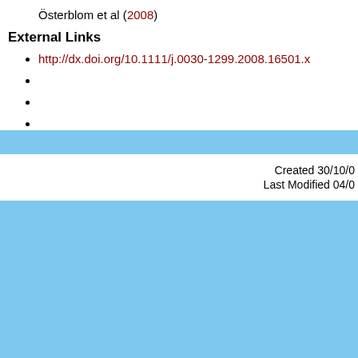Österblom et al (2008)
External Links
http://dx.doi.org/10.1111/j.0030-1299.2008.16501.x
Created 30/10/0
Last Modified 04/0